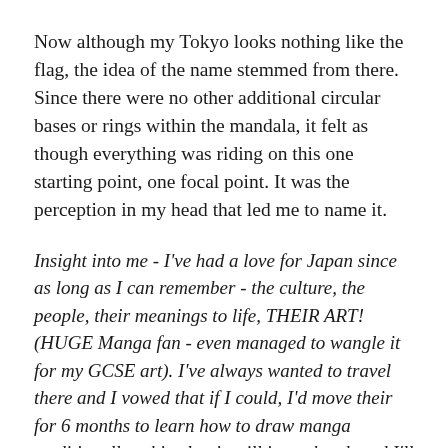Now although my Tokyo looks nothing like the flag, the idea of the name stemmed from there. Since there were no other additional circular bases or rings within the mandala, it felt as though everything was riding on this one starting point, one focal point. It was the perception in my head that led me to name it.
Insight into me - I've had a love for Japan since as long as I can remember - the culture, the people, their meanings to life, THEIR ART! (HUGE Manga fan - even managed to wangle it for my GCSE art). I've always wanted to travel there and I vowed that if I could, I'd move their for 6 months to learn how to draw manga traditionally - this plan is still in my head, and I'll still do it someday because Manga cartoons are what brought me to love art in the first place, well, that and my cousin brother Harvey